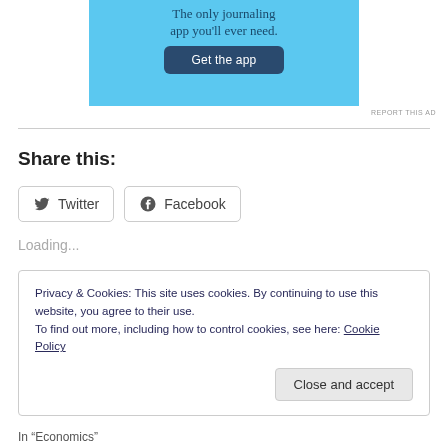[Figure (screenshot): Advertisement banner for a journaling app on a light blue background with sparkle decorations. Text reads 'The only journaling app you'll ever need.' with a dark blue 'Get the app' button.]
REPORT THIS AD
Share this:
Twitter   Facebook
Loading...
Privacy & Cookies: This site uses cookies. By continuing to use this website, you agree to their use.
To find out more, including how to control cookies, see here: Cookie Policy
Close and accept
In “Economics”